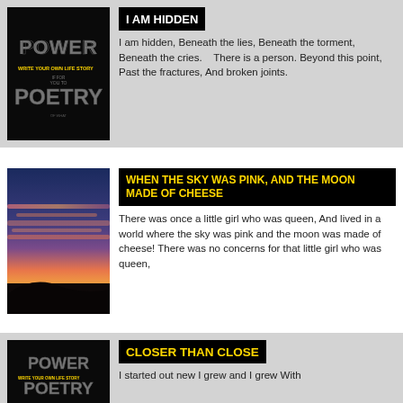[Figure (illustration): Power of Poetry book cover with dark background and yellow/white text]
I AM HIDDEN
I am hidden, Beneath the lies, Beneath the torment, Beneath the cries.    There is a person. Beyond this point, Past the fractures, And broken joints.
[Figure (photo): Sunset sky with pink and orange clouds over dark landscape]
WHEN THE SKY WAS PINK, AND THE MOON MADE OF CHEESE
There was once a little girl who was queen, And lived in a world where the sky was pink and the moon was made of cheese! There was no concerns for that little girl who was queen,
[Figure (illustration): Power of Poetry book cover with dark background]
CLOSER THAN CLOSE
I started out new I grew and I grew With